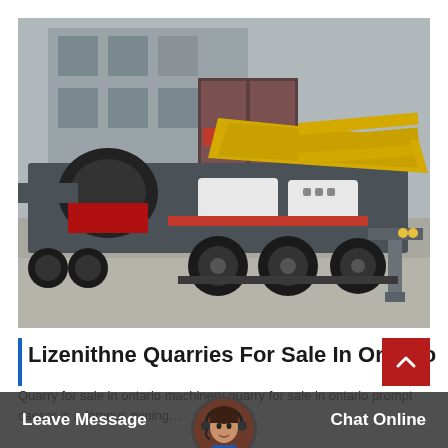[Figure (photo): Mobile crushing plant / mining machinery on a flatbed trailer parked outside an industrial building. The machine is large, grey and black with yellow vibratory screen sections and a red stripe accent, mounted on multi-axle trailer wheels.]
Lizenithne Quarries For Sale In Ontario
Quarry for sale in ontario machinery quarry for sale in ontario prompt caesar is a famous mining…
Leave Message
Chat Online